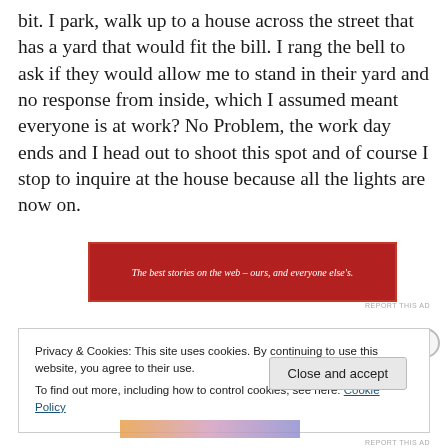bit. I park, walk up to a house across the street that has a yard that would fit the bill. I rang the bell to ask if they would allow me to stand in their yard and no response from inside, which I assumed meant everyone is at work? No Problem, the work day ends and I head out to shoot this spot and of course I stop to inquire at the house because all the lights are now on.
[Figure (other): Red advertisement banner with white italic text: 'The best stories on the web – ours, and everyone else's.']
Privacy & Cookies: This site uses cookies. By continuing to use this website, you agree to their use.
To find out more, including how to control cookies, see here: Cookie Policy